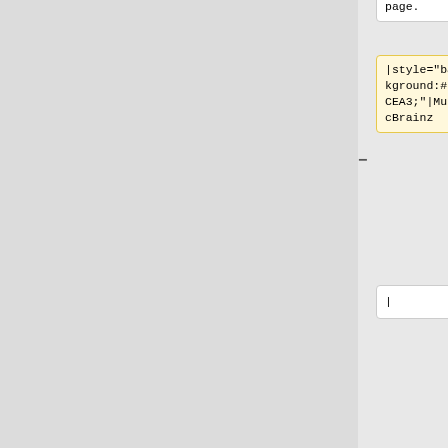page.
|style="background:#F8CEA3;"|MusicBrainz
|
|
|jesus2099
|loujine
|style="background:#6f6;"|[https://bitbucket.org/loujine/musicbrainz-scripts/raw/default/mbz-showacousti
|style="background:#6f6;"|[[Image:UserscriptList-Install.svg|25px|link=https://github.com/jesus200